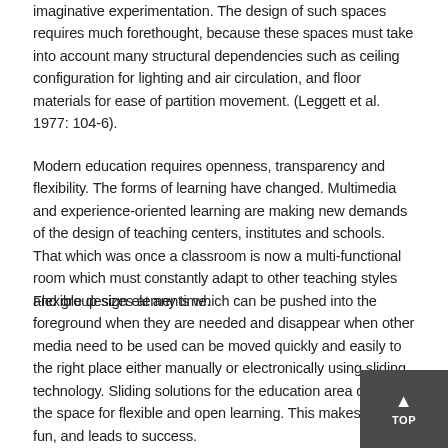imaginative experimentation. The design of such spaces requires much forethought, because these spaces must take into account many structural dependencies such as ceiling configuration for lighting and air circulation, and floor materials for ease of partition movement. (Leggett et al. 1977: 104-6).
Modern education requires openness, transparency and flexibility. The forms of learning have changed. Multimedia and experience-oriented learning are making new demands of the design of teaching centers, institutes and schools. That which was once a classroom is now a multi-functional room which must constantly adapt to other teaching styles and group sizes at any time.
Flexible design elements which can be pushed into the foreground when they are needed and disappear when other media need to be used can be moved quickly and easily to the right place either manually or electronically using sliding technology. Sliding solutions for the education area create the space for flexible and open learning. This makes learning fun, and leads to success.